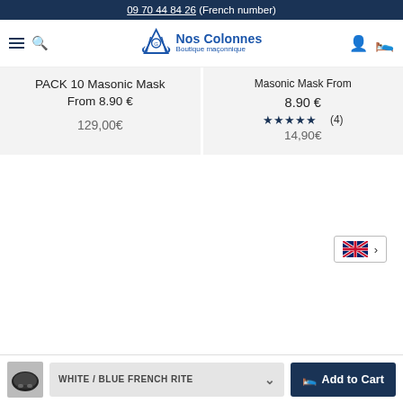09 70 44 84 26 (French number)
[Figure (logo): Nos Colonnes Boutique maçonnique logo with square and compass symbol]
PACK 10 Masonic Mask From 8.90 €
129,00€
Masonic Mask From 8.90 €
★★★★★ (4)
14,90€
[Figure (other): UK flag language selector button with arrow]
WHITE / BLUE FRENCH RITE
Add to Cart